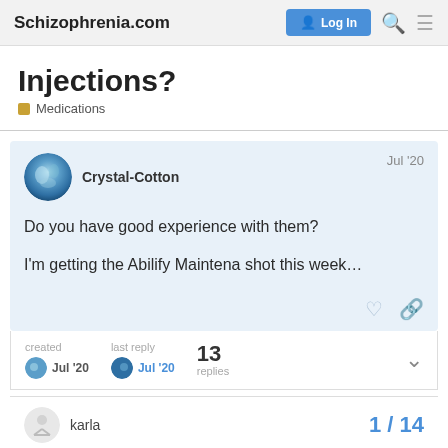Schizophrenia.com  Log In
Injections?
Medications
Crystal-Cotton  Jul '20
Do you have good experience with them?

I'm getting the Abilify Maintena shot this week…
created Jul '20   last reply Jul '20   13 replies
karla   1 / 14